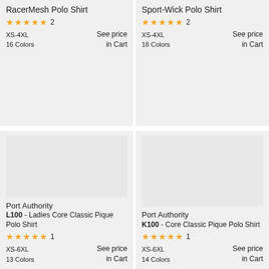RacerMesh Polo Shirt
★★★★★ 2
XS-4XL
16 Colors
See price in Cart
Sport-Wick Polo Shirt
★★★★★ 2
XS-4XL
18 Colors
See price in Cart
Port Authority
L100 - Ladies Core Classic Pique Polo Shirt
★★★★★ 1
XS-6XL
13 Colors
See price in Cart
Port Authority
K100 - Core Classic Pique Polo Shirt
★★★★★ 1
XS-6XL
14 Colors
See price in Cart